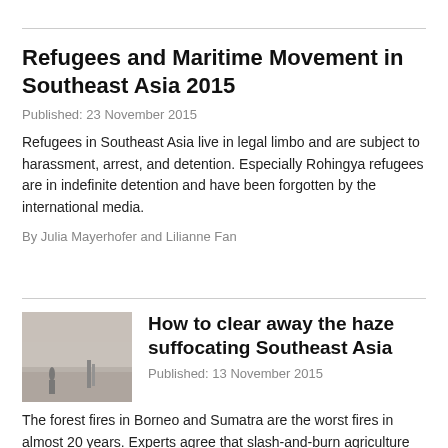Refugees and Maritime Movement in Southeast Asia 2015
Published: 23 November 2015
Refugees in Southeast Asia live in legal limbo and are subject to harassment, arrest, and detention. Especially Rohingya refugees are in indefinite detention and have been forgotten by the international media.
By Julia Mayerhofer and Lilianne Fan
[Figure (photo): Hazy landscape photo with silhouettes of figures and structures in foggy conditions]
How to clear away the haze suffocating Southeast Asia
Published: 13 November 2015
The forest fires in Borneo and Sumatra are the worst fires in almost 20 years. Experts agree that slash-and-burn agriculture